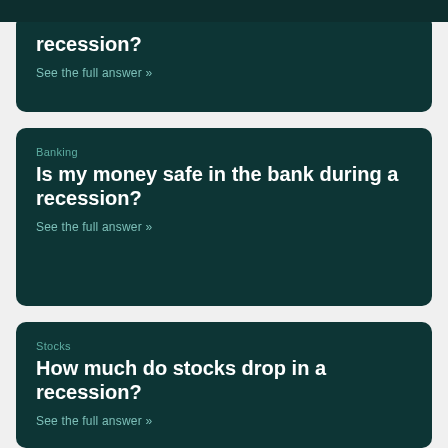recession?
See the full answer »
Banking
Is my money safe in the bank during a recession?
See the full answer »
Stocks
How much do stocks drop in a recession?
See the full answer »